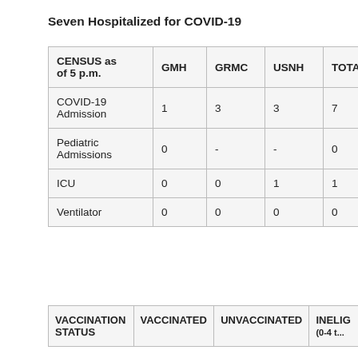Seven Hospitalized for COVID-19
| CENSUS as of 5 p.m. | GMH | GRMC | USNH | TOTAL |
| --- | --- | --- | --- | --- |
| COVID-19 Admission | 1 | 3 | 3 | 7 |
| Pediatric Admissions | 0 | - | - | 0 |
| ICU | 0 | 0 | 1 | 1 |
| Ventilator | 0 | 0 | 0 | 0 |
| VACCINATION STATUS | VACCINATED | UNVACCINATED | INELIGIBLE (0-4 ...) |
| --- | --- | --- | --- |